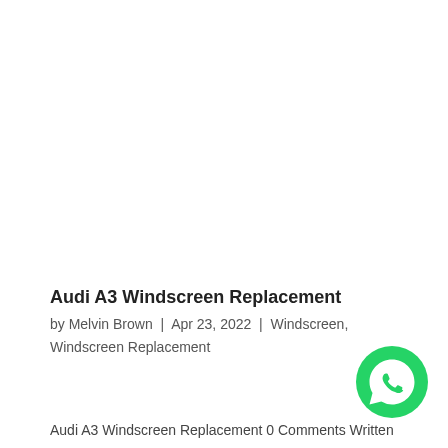Audi A3 Windscreen Replacement
by Melvin Brown | Apr 23, 2022 | Windscreen, Windscreen Replacement
Audi A3 Windscreen Replacement 0 Comments Written
[Figure (logo): WhatsApp chat button icon — green circle with white phone handset symbol]